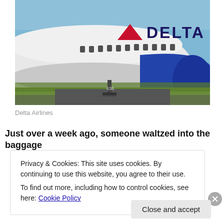[Figure (photo): Close-up photo of a Delta Airlines commercial aircraft on the ground, showing the nose section, fuselage with DELTA logo and red triangle, windows, and a blue engine. Number 638 visible on landing gear door.]
Delta Airlines
Just over a week ago, someone waltzed into the baggage
Privacy & Cookies: This site uses cookies. By continuing to use this website, you agree to their use.
To find out more, including how to control cookies, see here: Cookie Policy
Close and accept